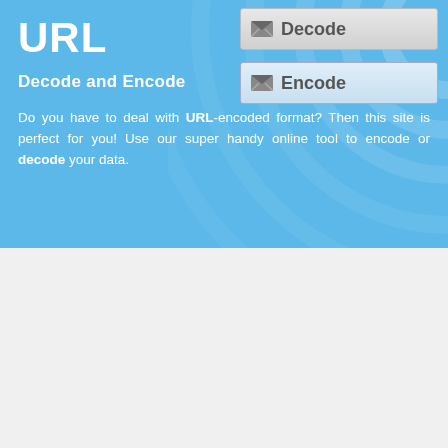URL
Decode and Encode
[Figure (screenshot): Decode button with envelope icon]
[Figure (screenshot): Encode button with envelope icon]
Do you have to deal with URL-encoded format? Then this site is perfect for you! Use our super handy online tool to encode or decode your data.
URL Decoding of "dusty%27s"
Simply enter your data then push the decode button.
dusty%27s